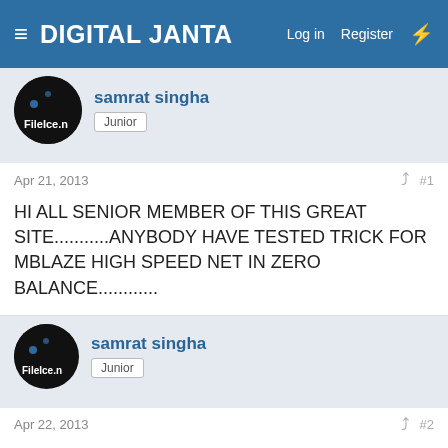DIGITAL JANTA  Log in  Register
samrat singha
Junior
Apr 21, 2013  #1
HI ALL SENIOR MEMBER OF THIS GREAT SITE...........ANYBODY HAVE TESTED TRICK FOR MBLAZE HIGH SPEED NET IN ZERO BALANCE............
samrat singha
Junior
Apr 22, 2013  #2
still looking for that...interested if paid
sasuke__uchiha
Talented